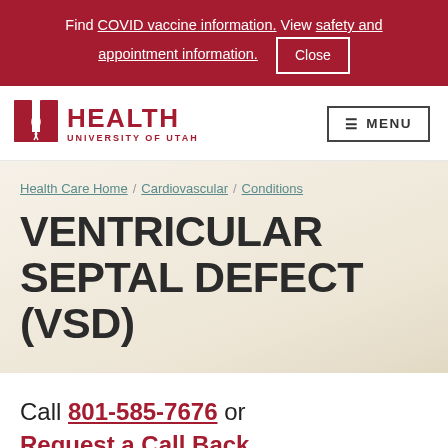Find COVID vaccine information. View safety and appointment information. Close
[Figure (logo): University of Utah Health logo with stylized U and DNA helix, red color, with text HEALTH and UNIVERSITY OF UTAH]
MENU
Health Care Home / Cardiovascular / Conditions
VENTRICULAR SEPTAL DEFECT (VSD)
Call 801-585-7676 or Request a Call Back